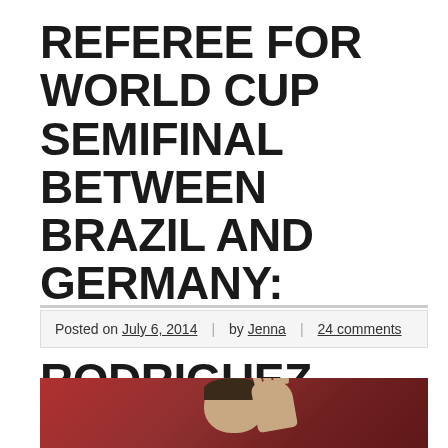REFEREE FOR WORLD CUP SEMIFINAL BETWEEN BRAZIL AND GERMANY: MARCO RODRIGUEZ
Posted on July 6, 2014 | by Jenna | 24 comments
[Figure (photo): Photo of Marco Rodriguez, a man with dark short hair, raising his right hand with palm open, against a red stadium background]